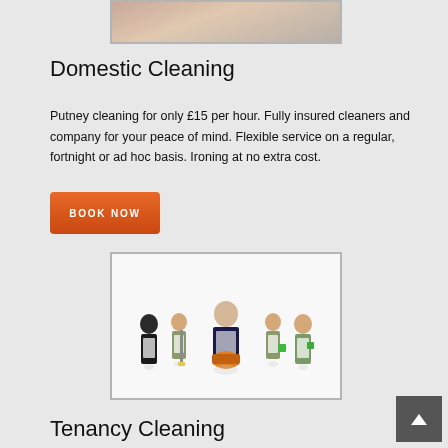[Figure (photo): Photo of someone cleaning, partially visible at top of page]
Domestic Cleaning
Putney cleaning for only £15 per hour. Fully insured cleaners and company for your peace of mind. Flexible service on a regular, fortnight or ad hoc basis. Ironing at no extra cost.
[Figure (illustration): Group of cleaning staff in uniforms holding cleaning supplies and equipment]
Tenancy Cleaning